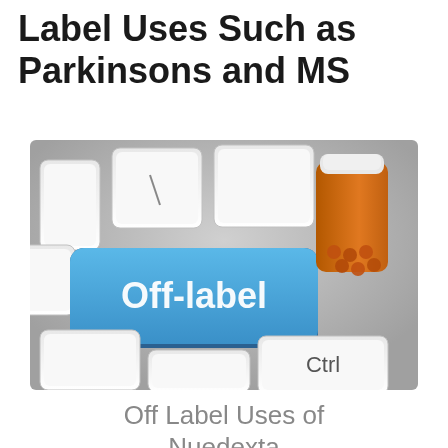Label Uses Such as Parkinsons and MS
[Figure (photo): A keyboard with a prominent blue key labeled 'Off-label' and an orange pill bottle with tablets visible, alongside standard white keyboard keys including a 'Ctrl' key, set on a gray background.]
Off Label Uses of Nuedexta